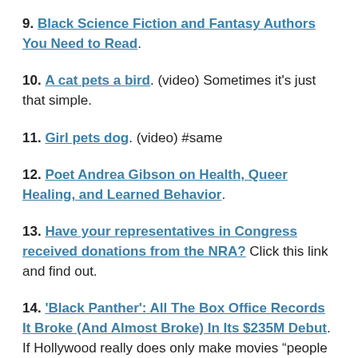9. Black Science Fiction and Fantasy Authors You Need to Read.
10. A cat pets a bird. (video) Sometimes it's just that simple.
11. Girl pets dog. (video) #same
12. Poet Andrea Gibson on Health, Queer Healing, and Learned Behavior.
13. Have your representatives in Congress received donations from the NRA? Click this link and find out.
14. 'Black Panther': All The Box Office Records It Broke (And Almost Broke) In Its $235M Debut. If Hollywood really does only make movies “people want to see,” there better be so much more of this.